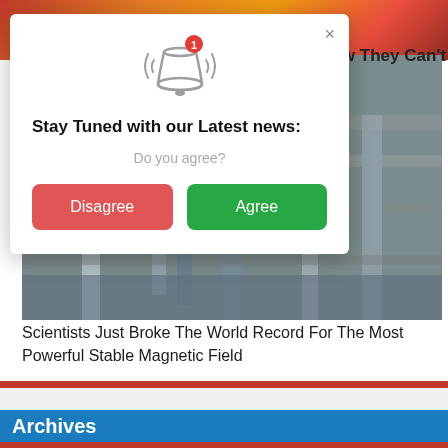[Figure (screenshot): Background showing fiery/sun image at top and industrial machinery image below]
... But Now They Can't
[Figure (infographic): Modal dialog popup with bell notification icon, badge with number 1, close button (x), title 'Stay Tuned with our Latest news:', subtitle 'Do you agree?', and two buttons: 'Disagree' (red) and 'Agree' (green)]
Scientists Just Broke The World Record For The Most Powerful Stable Magnetic Field
Archives